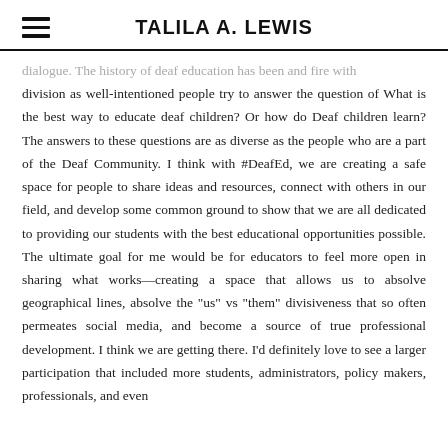TALILA A. LEWIS
dialogue. The history of deaf education has been and fire with division as well-intentioned people try to answer the question of What is the best way to educate deaf children? Or how do Deaf children learn? The answers to these questions are as diverse as the people who are a part of the Deaf Community. I think with #DeafEd, we are creating a safe space for people to share ideas and resources, connect with others in our field, and develop some common ground to show that we are all dedicated to providing our students with the best educational opportunities possible. The ultimate goal for me would be for educators to feel more open in sharing what works—creating a space that allows us to absolve geographical lines, absolve the "us" vs "them" divisiveness that so often permeates social media, and become a source of true professional development. I think we are getting there. I'd definitely love to see a larger participation that included more students, administrators, policy makers, professionals, and even